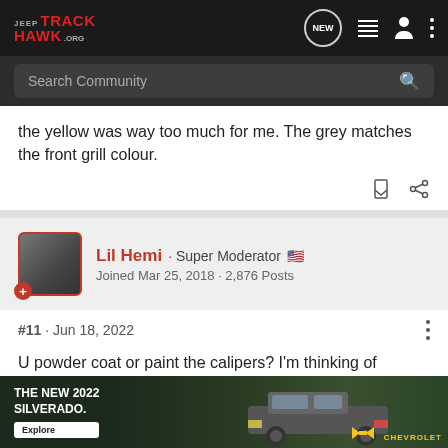JEEP TRACKHAWK.ORG
the yellow was way too much for me. The grey matches the front grill colour.
Lil Hemi · Super Moderator 🇺🇸
Joined Mar 25, 2018 · 2,876 Posts
#11 · Jun 18, 2022
U powder coat or paint the calipers? I'm thinking of matching mine to the interior blue lighting and doing a steering wheel in blue carbon fiber and stitching to match. I want to increase the rear roto
[Figure (screenshot): Advertisement banner: THE NEW 2022 SILVERADO. with Explore button and Chevrolet logo, showing a dark truck on the right side]